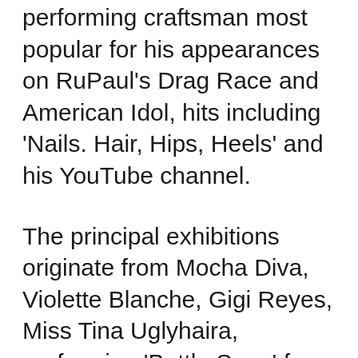performing craftsman most popular for his appearances on RuPaul's Drag Race and American Idol, hits including 'Nails. Hair, Hips, Heels' and his YouTube channel.
The principal exhibitions originate from Mocha Diva, Violette Blanche, Gigi Reyes, Miss Tina Uglyhaira, performing 'Battle Song' from Hong Kong.
Some of the biggest performances